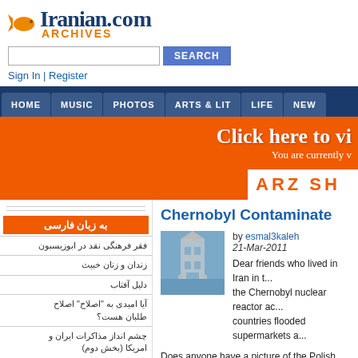[Figure (logo): Iranian.com Archives logo with goldfish icon]
[Figure (screenshot): Search bar with SEARCH button]
Sign In | Register
HOME  MUSIC  PHOTOS  ARTS & LIT  LIFE  NEW
[Figure (infographic): Orange banner: Click here to vi... You are currently v...]
[Figure (infographic): ARZ SH... orange bar]
به زبان فارسی
فقر فرهنگی نقد در ابوزیسبون
زندان و زنان خبیث
دلیل آفتاب
آیا امیدی به "اصلاح" اصلاح‌طلبان هست؟
چشم انداز مذاکرات ایران و امریکا (بخش دوم)
بیشتر
Chernobyl Contaminate
by esmal3kaleh
21-Mar-2011
Dear friends who lived in Iran in the... the Chernobyl nuclear reactor ac... countries flooded supermarkets a...
Does anyone have a picture of the Polish, Ukrania... the wrapping paper ?
Who allowed the import of the butter that the cour... discarded ?